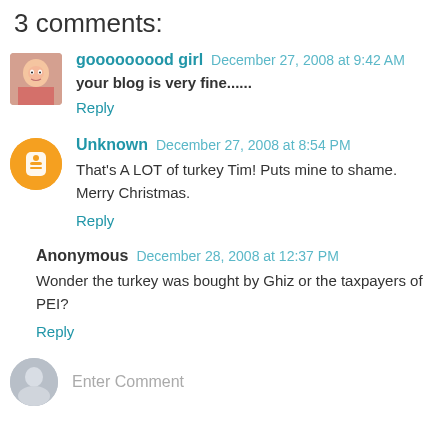3 comments:
gooooooood girl December 27, 2008 at 9:42 AM
your blog is very fine......
Reply
Unknown December 27, 2008 at 8:54 PM
That's A LOT of turkey Tim! Puts mine to shame. Merry Christmas.
Reply
Anonymous December 28, 2008 at 12:37 PM
Wonder the turkey was bought by Ghiz or the taxpayers of PEI?
Reply
Enter Comment